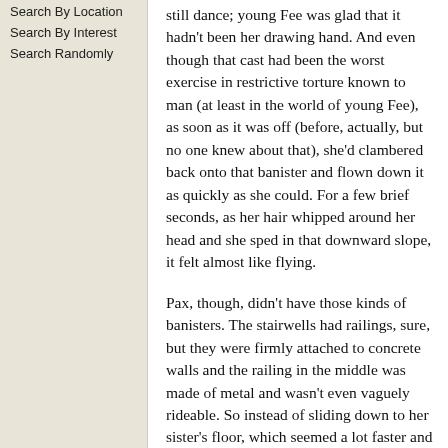Search By Location
Search By Interest
Search Randomly
still dance; young Fee was glad that it hadn't been her drawing hand. And even though that cast had been the worst exercise in restrictive torture known to man (at least in the world of young Fee), as soon as it was off (before, actually, but no one knew about that), she'd clambered back onto that banister and flown down it as quickly as she could. For a few brief seconds, as her hair whipped around her head and she sped in that downward slope, it felt almost like flying.
Pax, though, didn't have those kinds of banisters. The stairwells had railings, sure, but they were firmly attached to concrete walls and the railing in the middle was made of metal and wasn't even vaguely rideable. So instead of sliding down to her sister's floor, which seemed a lot faster and